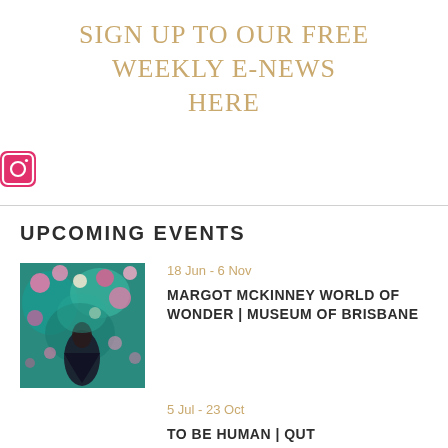SIGN UP TO OUR FREE WEEKLY E-NEWS HERE
[Figure (logo): Instagram icon — pink/red rounded square with camera symbol]
UPCOMING EVENTS
[Figure (photo): Colorful painting of a peacock or figure surrounded by vibrant flowers in teal, green, and pink tones]
18 Jun - 6 Nov
MARGOT MCKINNEY WORLD OF WONDER | MUSEUM OF BRISBANE
5 Jul - 23 Oct
TO BE HUMAN | QUT GALLERIES